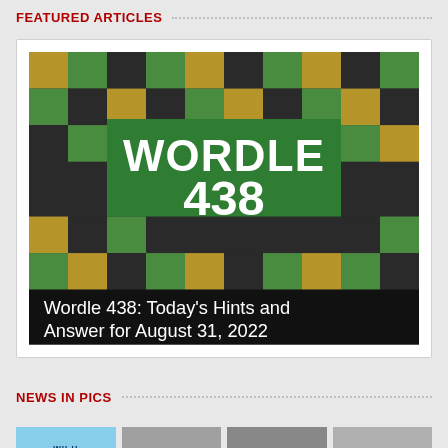FEATURED ARTICLES
[Figure (screenshot): Wordle 438 thumbnail image showing a grid of green, gold/yellow, and dark gray colored tiles in a mosaic pattern, with bold white text reading 'WORDLE' and '438' overlaid on a green center panel. Below the tile grid is a black banner with white text reading: Wordle 438: Today's Hints and Answer for August 31, 2022]
NEWS IN PICS
[Figure (photo): Wii U thumbnail with light blue background and 'WII U' text]
[Figure (photo): Gray thumbnail image]
[Figure (photo): Dark gray thumbnail image]
[Figure (photo): Light gray thumbnail image]